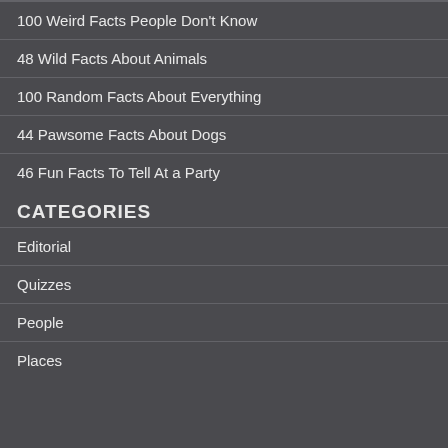100 Weird Facts People Don't Know
48 Wild Facts About Animals
100 Random Facts About Everything
44 Pawsome Facts About Dogs
46 Fun Facts To Tell At a Party
CATEGORIES
Editorial
Quizzes
People
Places